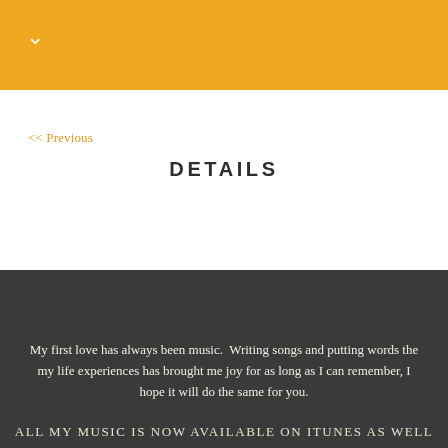∨
<< Previous
DETAILS
My first love has always been music.  Writing songs and putting words the my life experiences has brought me joy for as long as I can remember, I hope it will do the same for you.
ALL MY MUSIC IS NOW AVAILABLE ON ITUNES AS WELL